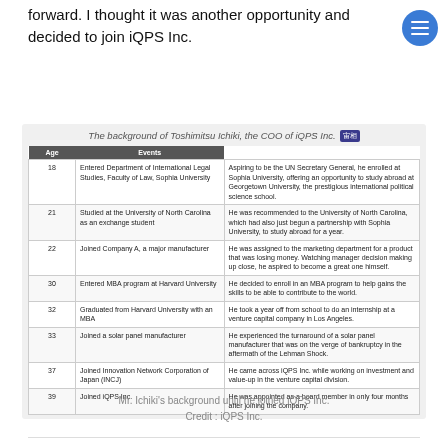forward. I thought it was another opportunity and decided to join iQPS Inc.
[Figure (table-as-image): Background of Toshimitsu Ichiki, COO of iQPS Inc. — a styled table with Age and Events columns showing biographical milestones from age 18 to 39.]
Mr. Ichiki's background until he joined iQPS Inc.
Credit : iQPS Inc.